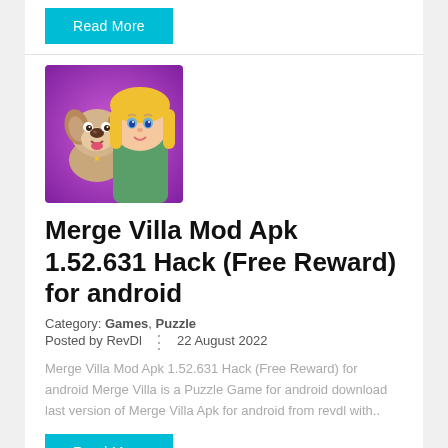Read More
[Figure (illustration): Game app icon showing a cartoon girl with blonde hair holding a cartoon dog, purple background]
Merge Villa Mod Apk 1.52.631 Hack (Free Reward) for android
Category: Games, Puzzle
Posted by RevDl  ·  22 August 2022
Merge Villa Mod Apk 1.52.631 Hack (Free Reward) for android Merge Villa is a Puzzle Game for android download last version of Merge Villa Apk for android from revdl with..
Read More